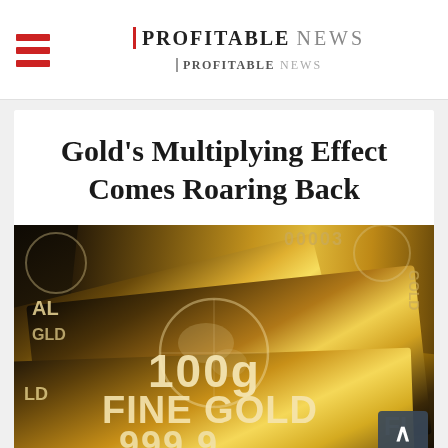PROFITABLE NEWS / Profitable News
Gold's Multiplying Effect Comes Roaring Back
[Figure (photo): Close-up photograph of stacked 100g Fine Gold 999.9 gold bars with globe/world map watermarks embossed on dark metallic surfaces]